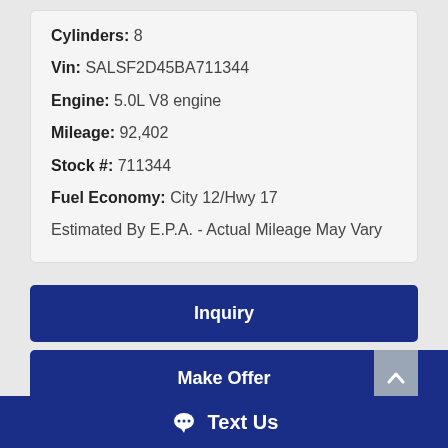Cylinders: 8
Vin: SALSF2D45BA711344
Engine: 5.0L V8 engine
Mileage: 92,402
Stock #: 711344
Fuel Economy: City 12/Hwy 17
Estimated By E.P.A. - Actual Mileage May Vary
Inquiry
Make Offer
Finance
Text Us